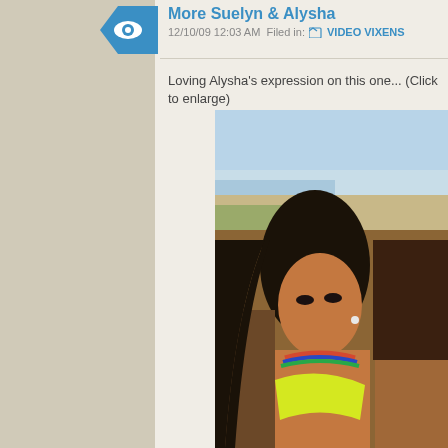More Suelyn & Alysha
12/10/09 12:03 AM Filed in: VIDEO VIXENS
Loving Alysha's expression on this one... (Click to enlarge)
[Figure (photo): Two women in bikinis at a beach. The woman in the foreground has long dark hair and is wearing a colorful beaded necklace and a yellow-green bikini top. A second woman with brown hair is partially visible on the right side.]